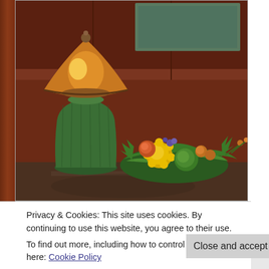[Figure (photo): Interior photo showing a green ceramic vase with a bronze/copper lamp with warm amber shade on top, placed on a wooden floor against dark wood paneled walls. In the foreground is a floral arrangement with orange, yellow, and green flowers and greenery.]
Privacy & Cookies: This site uses cookies. By continuing to use this website, you agree to their use. To find out more, including how to control cookies, see here: Cookie Policy
Close and accept
The four of us shared the fried chicken platter served with mashed